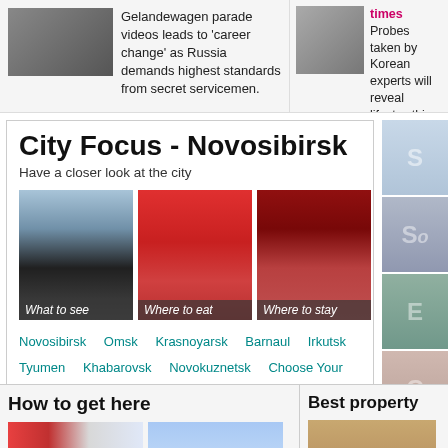Gelandewagen parade videos leads to 'career change' as Russia demands highest standards from secret servicemen.
times
Probes taken by Korean experts will reveal lifestyle of this Arctic boy from 800 years a
City Focus - Novosibirsk
Have a closer look at the city
[Figure (photo): What to see - city scene with people]
[Figure (photo): Where to eat - woman in red shirt]
[Figure (photo): Where to stay - building exterior]
Novosibirsk   Omsk   Krasnoyarsk   Barnaul   Irkutsk   Tyumen   Khabarovsk   Novokuznetsk   Choose Your City...
How to get here
[Figure (photo): Red Russian train]
[Figure (photo): S7 airplane on runway]
Best property
[Figure (photo): Food/property display]